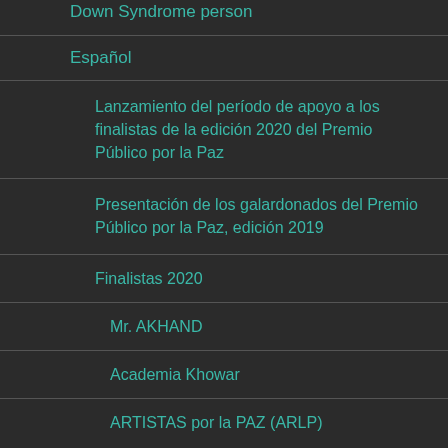Down Syndrome person
Español
Lanzamiento del período de apoyo a los finalistas de la edición 2020 del Premio Público por la Paz
Presentación de los galardonados del Premio Público por la Paz, edición 2019
Finalistas 2020
Mr. AKHAND
Academia Khowar
ARTISTAS por la PAZ (ARLP)